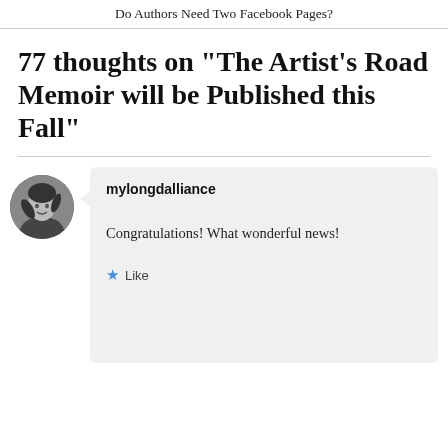Do Authors Need Two Facebook Pages?
77 thoughts on “The Artist’s Road Memoir will be Published this Fall”
[Figure (photo): Circular avatar photo of a person (mylongdalliance) with dark hair, black and white]
mylongdalliance
Congratulations! What wonderful news!
Like